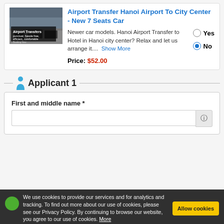Airport Transfer Hanoi Airport To City Center - New 7 Seats Car
Newer car models. Hanoi Airport Transfer to Hotel in Hanoi city center? Relax and let us arrange it....
Show More
Price: $52.00
Applicant 1
First and middle name *
We use cookies to provide our services and for analytics and tracking. To find out more about our use of cookies, please see our Privacy Policy. By continuing to browse our website, you agree to our use of cookies. More